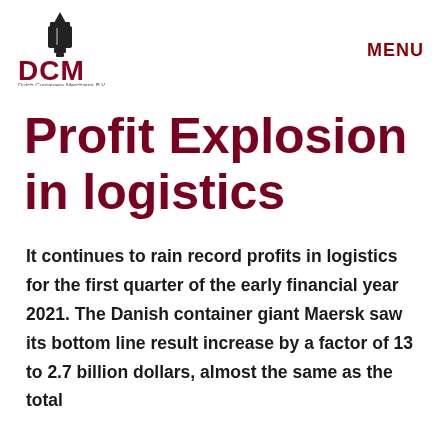[Figure (logo): DCM Dutch Containers Merchants B.V. logo with black torch/container icon above red bold letters DCM and small subtitle text]
MENU
Profit Explosion in logistics
It continues to rain record profits in logistics for the first quarter of the early financial year 2021. The Danish container giant Maersk saw its bottom line result increase by a factor of 13 to 2.7 billion dollars, almost the same as the total